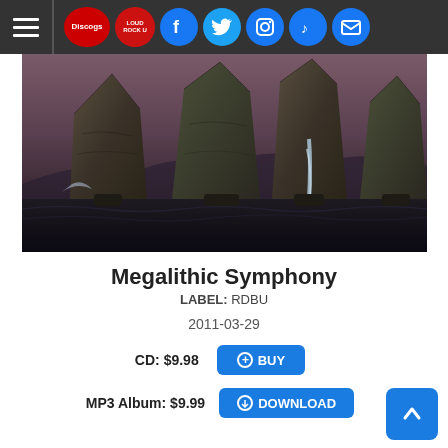Navigation bar with hamburger menu, Discogs logo, social media icons (Facebook, Twitter, Instagram, TikTok, Email)
[Figure (photo): Album art for Megalithic Symphony showing three large rock formations shaped like letters rising from dark ocean water, with a waterfall cascading from the middle formation, moody purple-grey sky with mountains in the background]
Megalithic Symphony
LABEL: RDBU
2011-03-29
CD: $9.98 + BUY
MP3 Album: $9.99 ⊕ DOWNLOAD